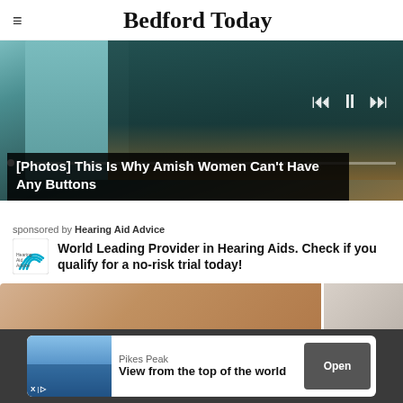Bedford Today
[Figure (photo): Slideshow image showing Amish women in dark clothing with media player controls and progress bar overlay. Caption reads: [Photos] This Is Why Amish Women Can't Have Any Buttons]
[Photos] This Is Why Amish Women Can't Have Any Buttons
sponsored by Hearing Aid Advice
World Leading Provider in Hearing Aids. Check if you qualify for a no-risk trial today!
[Figure (photo): Two partial thumbnail images at the bottom of the page]
[Figure (screenshot): Bottom advertisement bar: Pikes Peak - View from the top of the world - Open button]